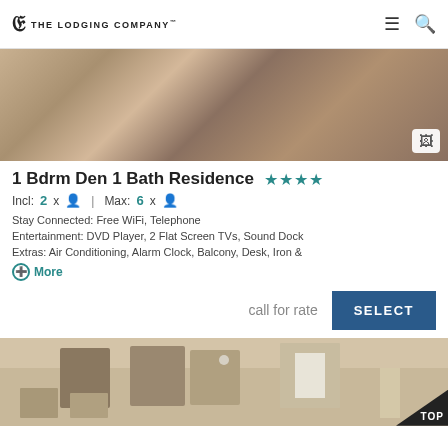The Lodging Company
[Figure (photo): Hotel room interior showing sofa and side table with red floral patterned chair, grey carpet]
1 Bdrm Den 1 Bath Residence ★★★★
Incl: 2x | Max: 6x
Stay Connected: Free WiFi, Telephone
Entertainment: DVD Player, 2 Flat Screen TVs, Sound Dock
Extras: Air Conditioning, Alarm Clock, Balcony, Desk, Iron &
More
call for rate
SELECT
[Figure (photo): Hotel room interior showing living area with framed artwork, window with curtains, and lamp]